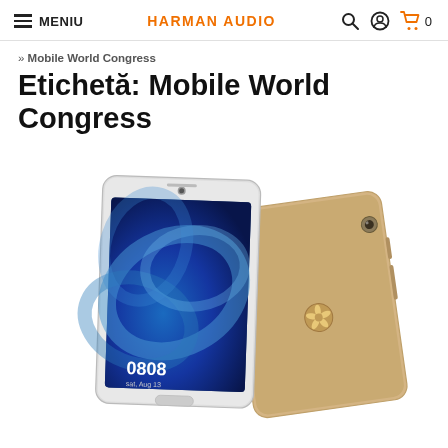≡ MENIU   HARMAN AUDIO   🔍 👤 🛒 0
» Mobile World Congress
Etichetă: Mobile World Congress
[Figure (photo): Huawei MediaPad M3 tablet shown from front (screen on, displaying blue abstract wallpaper, showing time 08:08) and back (gold/champagne aluminum body with Huawei logo). Two tablets positioned overlapping each other.]